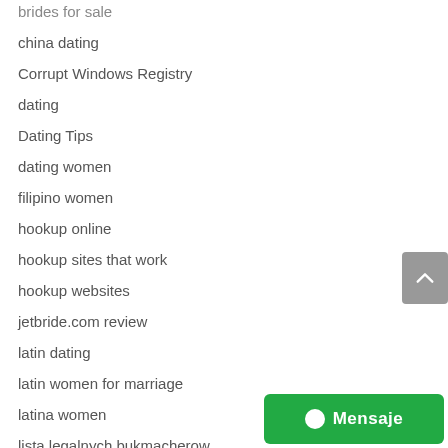brides for sale
china dating
Corrupt Windows Registry
dating
Dating Tips
dating women
filipino women
hookup online
hookup sites that work
hookup websites
jetbride.com review
latin dating
latin women for marriage
latina women
lista legalnych bukmacherow